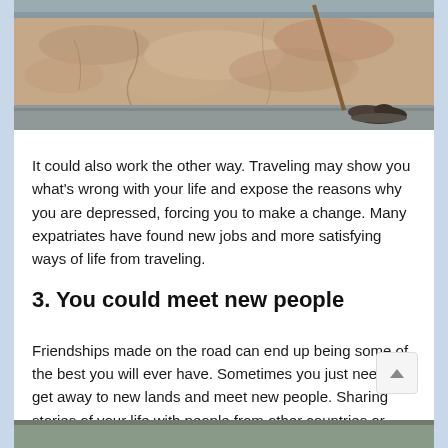[Figure (photo): Photo of a stone wall with a stick leaning against it and a shoe on the ground beside the wall, outdoor cobblestone scene]
It could also work the other way. Traveling may show you what's wrong with your life and expose the reasons why you are depressed, forcing you to make a change. Many expatriates have found new jobs and more satisfying ways of life from traveling.
3. You could meet new people
Friendships made on the road can end up being some of the best you will ever have. Sometimes you just need to get away to new lands and meet new people. Sharing stories of your life with people from other countries or cities can open up lots of opportunities for you and expand thinking.